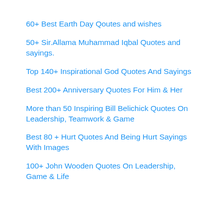60+ Best Earth Day Qoutes and wishes
50+ Sir.Allama Muhammad Iqbal Quotes and sayings.
Top 140+ Inspirational God Quotes And Sayings
Best 200+ Anniversary Quotes For Him & Her
More than 50 Inspiring Bill Belichick Quotes On Leadership, Teamwork & Game
Best 80 + Hurt Quotes And Being Hurt Sayings With Images
100+ John Wooden Quotes On Leadership, Game & Life